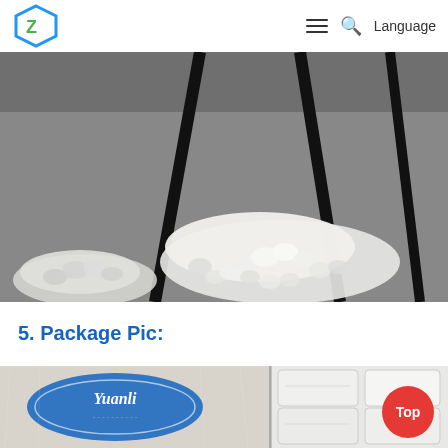ZQ logo | hamburger menu | search | Language
[Figure (photo): Close-up photo of white translucent plastic resin pellets/granules piled on a gray surface, with thin black rods visible in the background.]
5. Package Pic:
[Figure (photo): Photo showing packaged product bags with 'Yuanli' brand label visible on wrapped plastic packaging on the left, and stacked white bags/rolls on the right. A red circular badge with 'Top' text is overlaid in the bottom right corner.]